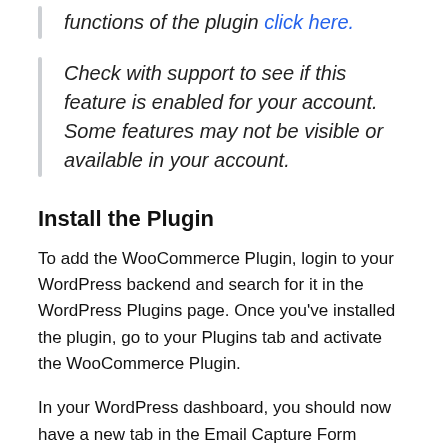functions of the plugin click here.
Check with support to see if this feature is enabled for your account. Some features may not be visible or available in your account.
Install the Plugin
To add the WooCommerce Plugin, login to your WordPress backend and search for it in the WordPress Plugins page. Once you've installed the plugin, go to your Plugins tab and activate the WooCommerce Plugin.
In your WordPress dashboard, you should now have a new tab in the Email Capture Form plugin.